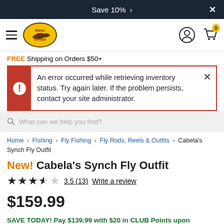Save 10% >
[Figure (logo): Bass Pro Shops oval logo with fish]
FREE Shipping on Orders $50+
An error occurred while retrieving inventory status. Try again later. If the problem persists, contact your site administrator.
What can we help you find?
Home > Fishing > Fly Fishing > Fly Rods, Reels & Outfits > Cabela's Synch Fly Outfit
New! Cabela's Synch Fly Outfit
3.5 (13)  Write a review
$159.99
SAVE TODAY! Pay $139.99 with $20 in CLUB Points upon